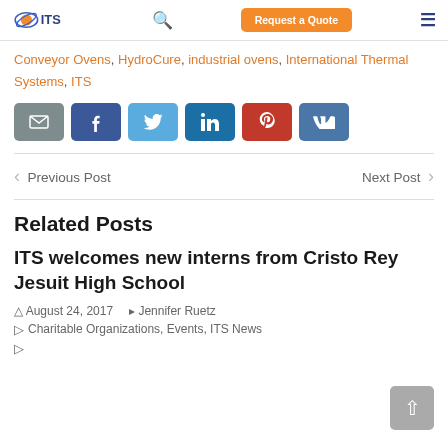ITS — Request a Quote
Conveyor Ovens, HydroCure, industrial ovens, International Thermal Systems, ITS
[Figure (infographic): Social share buttons: email (grey), Facebook (blue), Twitter (light blue), LinkedIn (dark blue), Pinterest (red), VK (blue)]
Previous Post    Next Post
Related Posts
ITS welcomes new interns from Cristo Rey Jesuit High School
August 24, 2017   Jennifer Ruetz
Charitable Organizations, Events, ITS News